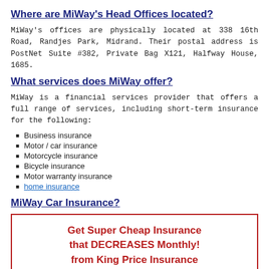Where are MiWay's Head Offices located?
MiWay's offices are physically located at 338 16th Road, Randjes Park, Midrand. Their postal address is PostNet Suite #382, Private Bag X121, Halfway House, 1685.
What services does MiWay offer?
MiWay is a financial services provider that offers a full range of services, including short-term insurance for the following:
Business insurance
Motor / car insurance
Motorcycle insurance
Bicycle insurance
Motor warranty insurance
home insurance
MiWay Car Insurance?
[Figure (infographic): Promotional box with red border containing bold red text: 'Get Super Cheap Insurance that DECREASES Monthly! from King Price Insurance']